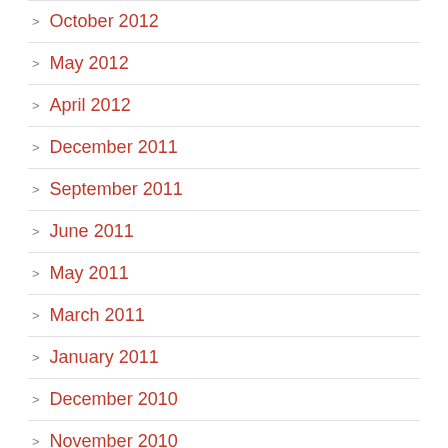October 2012
May 2012
April 2012
December 2011
September 2011
June 2011
May 2011
March 2011
January 2011
December 2010
November 2010